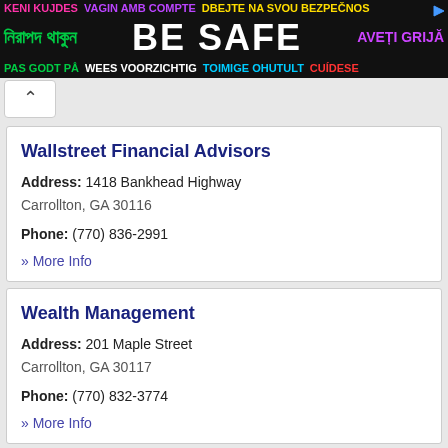[Figure (other): Multilingual safety banner advertisement with colorful text on black background reading BE SAFE in multiple languages]
Wallstreet Financial Advisors
Address: 1418 Bankhead Highway
Carrollton, GA 30116
Phone: (770) 836-2991
» More Info
Wealth Management
Address: 201 Maple Street
Carrollton, GA 30117
Phone: (770) 832-3774
» More Info